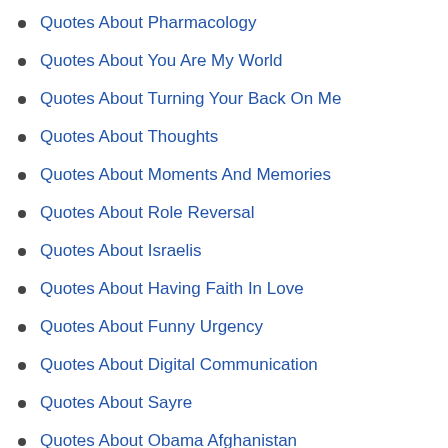Quotes About Pharmacology
Quotes About You Are My World
Quotes About Turning Your Back On Me
Quotes About Thoughts
Quotes About Moments And Memories
Quotes About Role Reversal
Quotes About Israelis
Quotes About Having Faith In Love
Quotes About Funny Urgency
Quotes About Digital Communication
Quotes About Sayre
Quotes About Obama Afghanistan